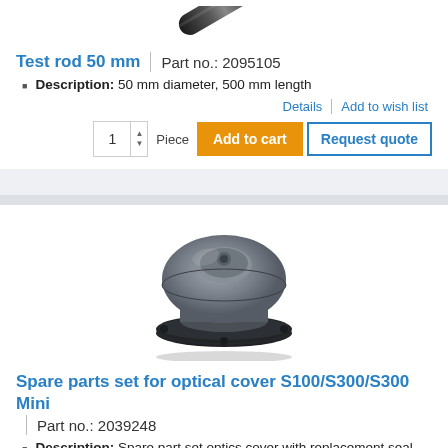[Figure (photo): Test rod 50 mm – dark cylindrical rod shown at angle, top of image cropped]
Test rod 50 mm  |  Part no.: 2095105
Description: 50 mm diameter, 500 mm length
Details  |  Add to wish list
1  Piece  Add to cart  Request quote
[Figure (photo): Spare parts set for optical cover S100/S300/S300 Mini – round grey/black optics cover component, top view]
Spare parts set for optical cover S100/S300/S300 Mini  |  Part no.: 2039248
Description: Spare part set optics cover with replacement seal and screws